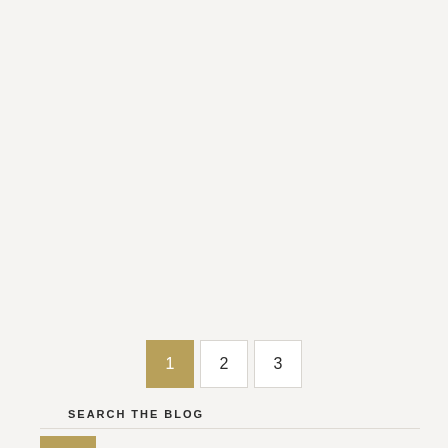[Figure (other): Pagination control with three page buttons: page 1 (active, gold background), page 2, page 3 (both white with border)]
SEARCH THE BLOG